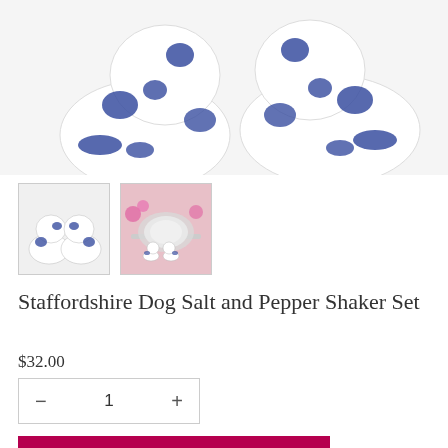[Figure (photo): Two white ceramic Staffordshire dog figurines with blue spots, facing each other, on a white background.]
[Figure (photo): Thumbnail: Two small Staffordshire dog salt and pepper shakers side by side.]
[Figure (photo): Thumbnail: Staffordshire dog shakers on a table with plates and floral decor.]
Staffordshire Dog Salt and Pepper Shaker Set
$32.00
− 1 +
ADD TO CART